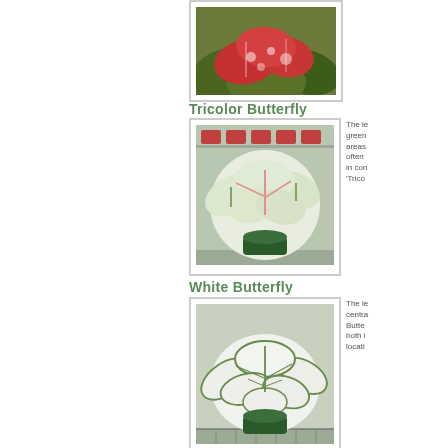[Figure (photo): Top partial image of colorful caladium plant with red, pink and green leaves, cropped at top of page]
Tricolor Butterfly
[Figure (photo): Tricolor Butterfly caladium plant in a dark green pot, showing white leaves with green veins and pink accents, in a greenhouse setting]
The le green areas often in con 'Trico
White Butterfly
[Figure (photo): White Butterfly caladium plant showing predominantly white leaves with green edges, forming a mound shape]
The le centra Butte both i locati